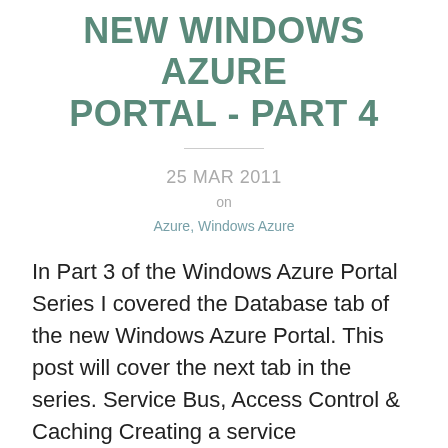NEW WINDOWS AZURE PORTAL - PART 4
25 MAR 2011
on
Azure, Windows Azure
In Part 3 of the Windows Azure Portal Series I covered the Database tab of the new Windows Azure Portal. This post will cover the next tab in the series. Service Bus, Access Control & Caching Creating a service Namespace Viewing Access Control & Service Bus URLs & end-points Viewing Access Keys As you can see here from the screenshots above the